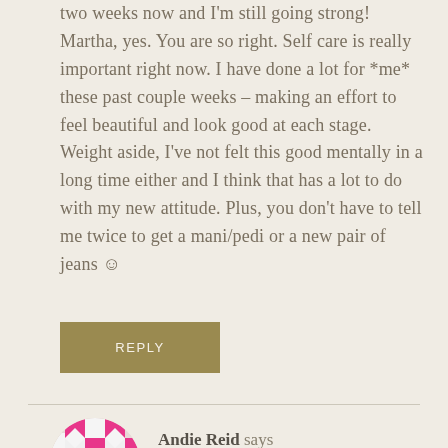two weeks now and I'm still going strong! Martha, yes. You are so right. Self care is really important right now. I have done a lot for *me* these past couple weeks – making an effort to feel beautiful and look good at each stage. Weight aside, I've not felt this good mentally in a long time either and I think that has a lot to do with my new attitude. Plus, you don't have to tell me twice to get a mani/pedi or a new pair of jeans ☺
REPLY
Andie Reid says